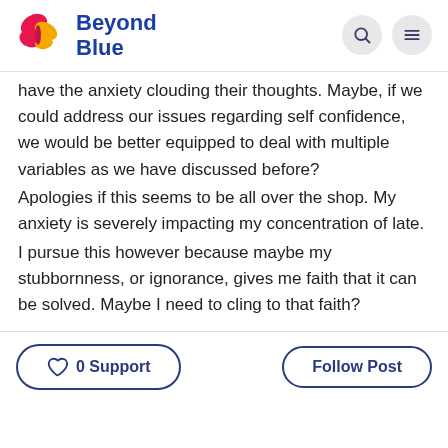Beyond Blue
have the anxiety clouding their thoughts. Maybe, if we could address our issues regarding self confidence, we would be better equipped to deal with multiple variables as we have discussed before?
Apologies if this seems to be all over the shop. My anxiety is severely impacting my concentration of late.
I pursue this however because maybe my stubbornness, or ignorance, gives me faith that it can be solved. Maybe I need to cling to that faith?
0 Support
Follow Post